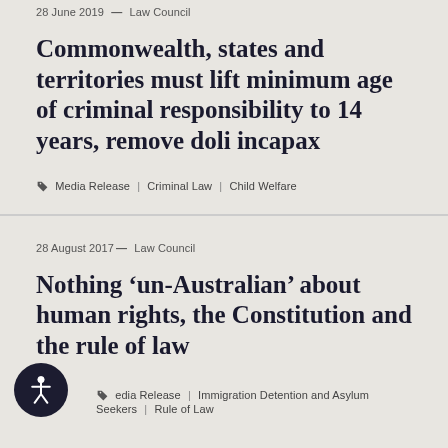28 June 2019 — Law Council
Commonwealth, states and territories must lift minimum age of criminal responsibility to 14 years, remove doli incapax
Media Release | Criminal Law | Child Welfare
28 August 2017 — Law Council
Nothing ‘un-Australian’ about human rights, the Constitution and the rule of law
Media Release | Immigration Detention and Asylum Seekers | Rule of Law